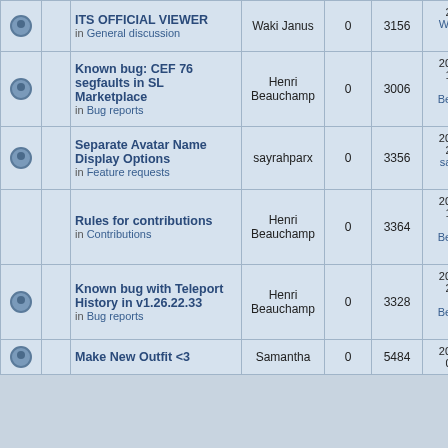|  |  | Topic | Author | Replies | Views | Last Post |
| --- | --- | --- | --- | --- | --- | --- |
|  |  | ITS OFFICIAL VIEWER in General discussion | Waki Janus | 0 | 3156 | 22:46:21 Waki Janus |
|  |  | Known bug: CEF 76 segfaults in SL Marketplace in Bug reports | Henri Beauchamp | 0 | 3006 | 2019-09-17 10:55:42 Henri Beauchamp |
|  |  | Separate Avatar Name Display Options in Feature requests | sayrahparx | 0 | 3356 | 2019-08-06 22:24:58 sayrahparx |
|  |  | Rules for contributions in Contributions | Henri Beauchamp | 0 | 3364 | 2019-05-27 13:58:35 Henri Beauchamp |
|  |  | Known bug with Teleport History in v1.26.22.33 in Bug reports | Henri Beauchamp | 0 | 3328 | 2019-02-03 22:16:18 Henri Beauchamp |
|  |  | Make New Outfit <3 | Samantha | 0 | 5484 | 2016-02-01 02:47:14 |